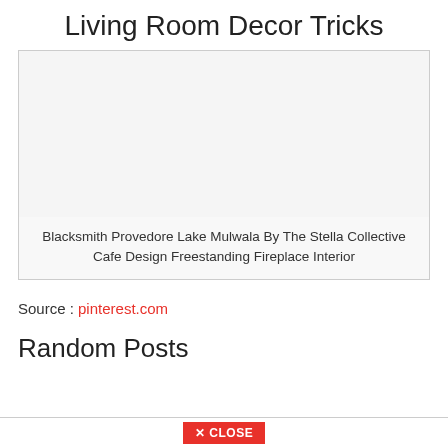Living Room Decor Tricks
[Figure (photo): Empty image placeholder for interior design photo]
Blacksmith Provedore Lake Mulwala By The Stella Collective Cafe Design Freestanding Fireplace Interior
Source : pinterest.com
Random Posts